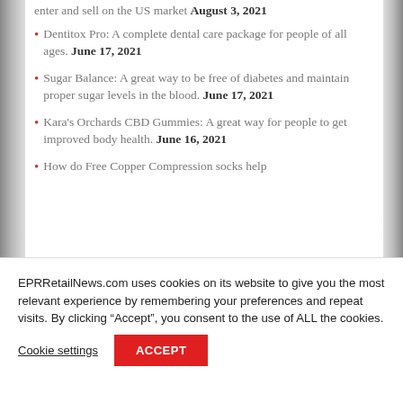enter and sell on the US market August 3, 2021
Dentitox Pro: A complete dental care package for people of all ages. June 17, 2021
Sugar Balance: A great way to be free of diabetes and maintain proper sugar levels in the blood. June 17, 2021
Kara's Orchards CBD Gummies: A great way for people to get improved body health. June 16, 2021
How do Free Copper Compression socks help
EPRRetailNews.com uses cookies on its website to give you the most relevant experience by remembering your preferences and repeat visits. By clicking “Accept”, you consent to the use of ALL the cookies.